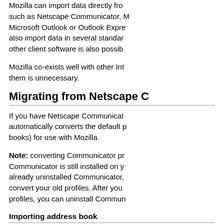Mozilla can import data directly from other clients such as Netscape Communicator, Microsoft Outlook or Outlook Express. It can also import data in several standard formats; importing from other client software is also possible.
Mozilla co-exists well with other Internet clients; removing them is unnecessary.
Migrating from Netscape C...
If you have Netscape Communicator installed, Mozilla automatically converts the default profiles (including address books) for use with Mozilla.
Note: converting Communicator profiles only works if Communicator is still installed on your machine. If you have already uninstalled Communicator, you will not be able to convert your old profiles. After you have converted your profiles, you can uninstall Commun...
Importing address book
To import your address book from your old client, first export it in the LDIF format. To do t...
1. Open Address Book in Com...